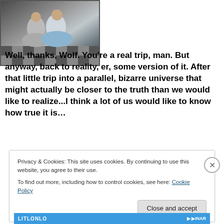[Figure (photo): A black and white photo of two people in 1950s style clothing, including poodle skirts, standing in what appears to be a diner with a checkered floor.]
Well, thanks, Wolf. You're a real trip, man. But anyway, back to reality, er, some version of it. After that little trip into a parallel, bizarre universe that might actually be closer to the truth than we would like to realize...I think a lot of us would like to know how true it is…
Privacy & Cookies: This site uses cookies. By continuing to use this website, you agree to their use.
To find out more, including how to control cookies, see here: Cookie Policy
Close and accept